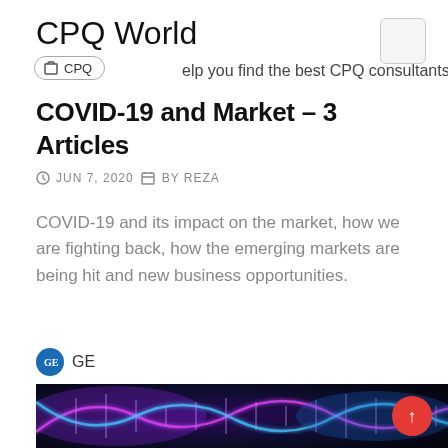CPQ World
We help you find the best CPQ consultants!
COVID-19 and Market – 3 Articles
JUN 7, 2020  BY REZA
COVID-19 and its impact on the market, how we are fighting back, how the emerging markets are being hit and new business opportunities.
GE
[Figure (photo): Glowing DNA double helix illustration on dark background with blue and pink neon colors]